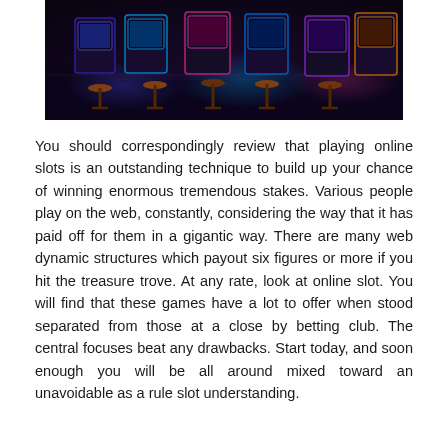[Figure (photo): Dark interior of an arcade or casino with glowing neon-lit gaming machines and bar stools in a row.]
You should correspondingly review that playing online slots is an outstanding technique to build up your chance of winning enormous tremendous stakes. Various people play on the web, constantly, considering the way that it has paid off for them in a gigantic way. There are many web dynamic structures which payout six figures or more if you hit the treasure trove. At any rate, look at online slot. You will find that these games have a lot to offer when stood separated from those at a close by betting club. The central focuses beat any drawbacks. Start today, and soon enough you will be all around mixed toward an unavoidable as a rule slot understanding.